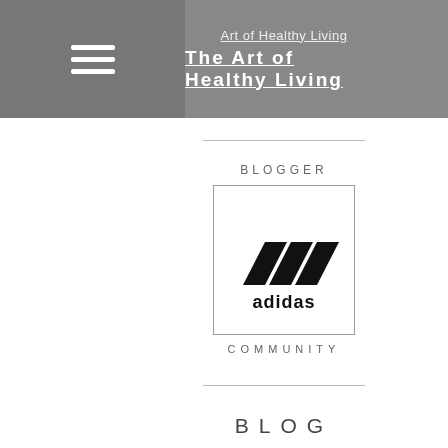Art of Healthy Living
The Art of Healthy Living
[Figure (logo): Adidas Blogger Community logo: word BLOGGER above, adidas three-stripes logo inside a square box, word COMMUNITY below]
BLOG